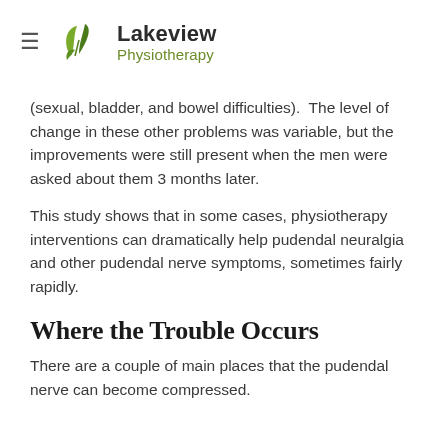Lakeview Physiotherapy
(sexual, bladder, and bowel difficulties).  The level of change in these other problems was variable, but the improvements were still present when the men were asked about them 3 months later.
This study shows that in some cases, physiotherapy interventions can dramatically help pudendal neuralgia and other pudendal nerve symptoms, sometimes fairly rapidly.
Where the Trouble Occurs
There are a couple of main places that the pudendal nerve can become compressed.